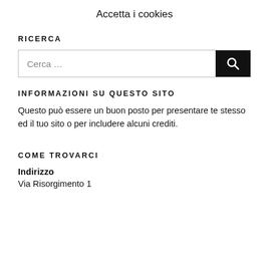Accetta i cookies
RICERCA
[Figure (other): Search input box with magnifying glass button]
INFORMAZIONI SU QUESTO SITO
Questo può essere un buon posto per presentare te stesso ed il tuo sito o per includere alcuni crediti.
COME TROVARCI
Indirizzo
Via Risorgimento 1